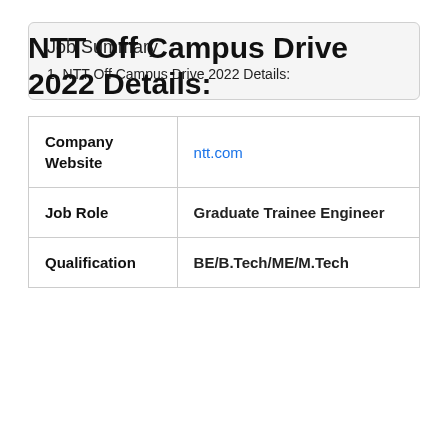Job Summary
1. NTT Off Campus Drive 2022 Details:
2. How to apply for NTT Off Campus Drive 2022 ?
NTT Off Campus Drive 2022 Details:
| Company Website | ntt.com |
| --- | --- |
| Job Role | Graduate Trainee Engineer |
| Qualification | BE/B.Tech/ME/M.Tech |